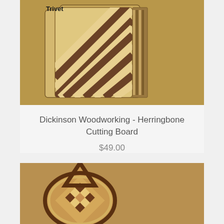[Figure (photo): Herringbone pattern wooden cutting boards stacked, with a 'Trivet' label visible in the upper left area of the image]
Dickinson Woodworking - Herringbone Cutting Board
$49.00
[Figure (photo): Decorative wooden trivet or board in a teardrop/onion shape with chevron and checkerboard inlay pattern in mixed wood tones]